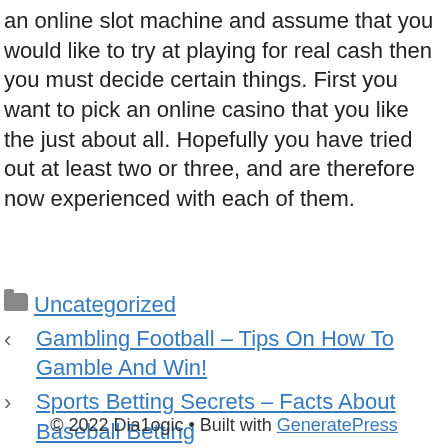an online slot machine and assume that you would like to try at playing for real cash then you must decide certain things. First you want to pick an online casino that you like the just about all. Hopefully you have tried out at least two or three, and are therefore now experienced with each of them.
Uncategorized
< Gambling Football – Tips On How To Gamble And Win!
> Sports Betting Secrets – Facts About Baseball Betting
© 2022 Dialogic • Built with GeneratePress